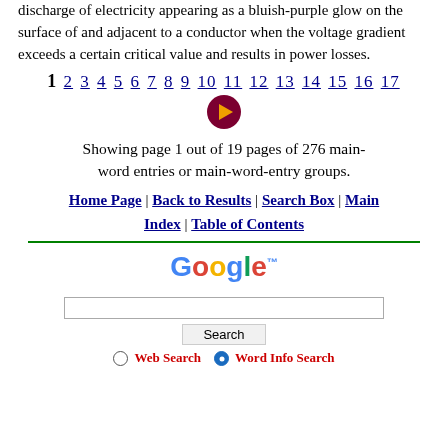discharge of electricity appearing as a bluish-purple glow on the surface of and adjacent to a conductor when the voltage gradient exceeds a certain critical value and results in power losses.
1 2 3 4 5 6 7 8 9 10 11 12 13 14 15 16 17
[Figure (other): Navigation arrow button (right arrow) in dark red/maroon circle]
Showing page 1 out of 19 pages of 276 main-word entries or main-word-entry groups.
Home Page | Back to Results | Search Box | Main Index | Table of Contents
[Figure (other): Green horizontal rule separator]
[Figure (logo): Google logo in multicolor]
[Figure (screenshot): Google search box with Search button and radio buttons for Web Search and Word Info Search]